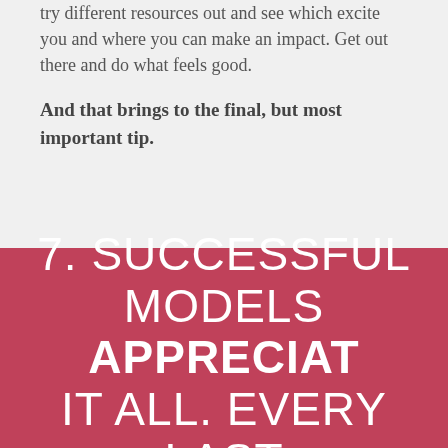try different resources out and see which excite you and where you can make an impact. Get out there and do what feels good.
And that brings to the final, but most important tip.
7. SUCCESSFUL MODELS APPRECIATE IT ALL. EVERY LAST THING.